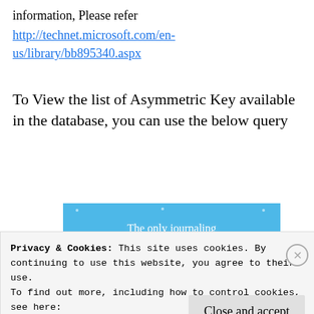information, Please refer http://technet.microsoft.com/en-us/library/bb895340.aspx
To View the list of Asymmetric Key available in the database, you can use the below query
[Figure (other): Blue advertisement banner with white text: 'The only journaling app you'll ever need.']
Privacy & Cookies: This site uses cookies. By continuing to use this website, you agree to their use.
To find out more, including how to control cookies, see here:
Cookie Policy
Close and accept